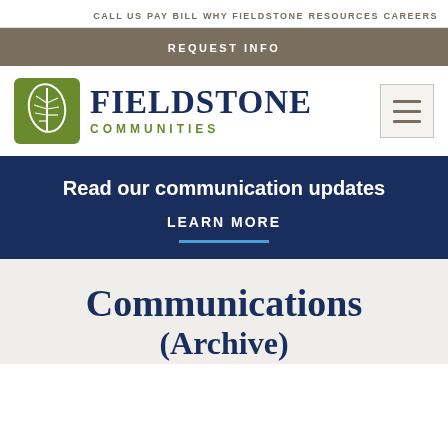CALL US  PAY BILL  WHY FIELDSTONE  RESOURCES  CAREERS
REQUEST INFO
[Figure (logo): Fieldstone Communities logo: green square with white leaf icon, dark navy bold serif FIELDSTONE text, olive/green COMMUNITIES text below, hamburger menu icon to the right]
Read our communication updates
LEARN MORE
Communications
(Archive)